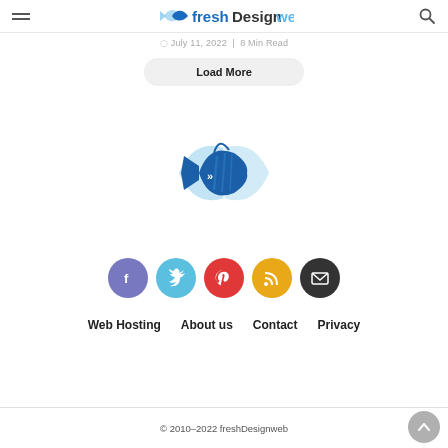freshDesignweb
July 11, 2022 | 8 Min Read
Load More
[Figure (logo): freshDesignweb fish logo in blue]
[Figure (infographic): Social media icons row: Facebook, Twitter, Pinterest, RSS, Email]
Web Hosting   About us   Contact   Privacy
© 2010–2022 freshDesignweb